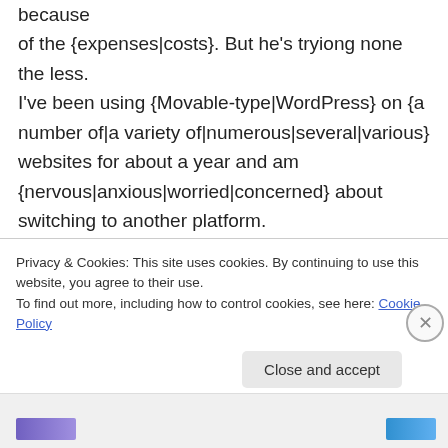because of the {expenses|costs}. But he's tryiong none the less. I've been using {Movable-type|WordPress} on {a number of|a variety of|numerous|several|various} websites for about a year and am {nervous|anxious|worried|concerned} about switching to another platform. I have heard {fantastic|very good|excellent|great|good} things about blogengine.net.
Privacy & Cookies: This site uses cookies. By continuing to use this website, you agree to their use. To find out more, including how to control cookies, see here: Cookie Policy
Close and accept